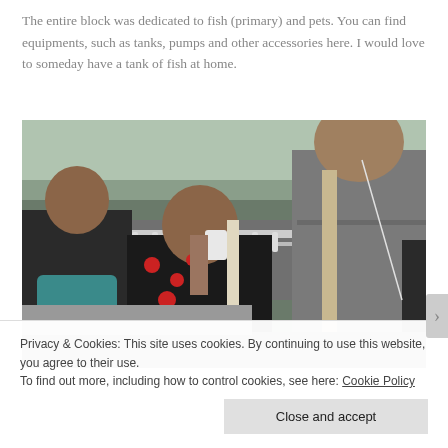The entire block was dedicated to fish (primary) and pets. You can find equipments, such as tanks, pumps and other accessories here. I would love to someday have a tank of fish at home.
[Figure (photo): Street scene with people walking. In the foreground, a person in a gray t-shirt with a bag. In the middle, a woman in a black outfit with red polka dots drinking from a cup. Another person partially visible on the left. Urban setting with a road and decorative railing in background.]
Privacy & Cookies: This site uses cookies. By continuing to use this website, you agree to their use.
To find out more, including how to control cookies, see here: Cookie Policy
Close and accept